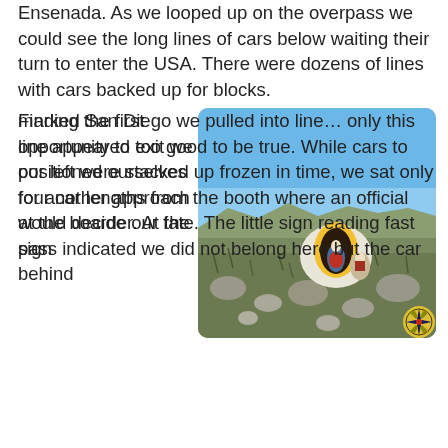Ensenada.  As we looped up on the overpass we could see the long lines of cars below waiting their turn to enter the USA.  There were dozens of lines with cars backed up for blocks.
Finding the first opportunity to exit we positioned ourselves for another approach at the boarder.  At the sign marked San Diego we pulled into line…  only this line appeared too good to be true.  While cars to our left were stacked up frozen in time, we sat only four car lengths from the booth where an official would decide our fate.  The little sign reading fast pass indicated we did not belong here but the car behind
[Figure (photo): Rocky hillside landscape with blue sky. A large white painted boulder features a colorful painted image of the Virgin of Guadalupe. Dry scrubby vegetation covers the rocky slopes. A compass rose logo/watermark appears in the bottom right corner of the photo.]